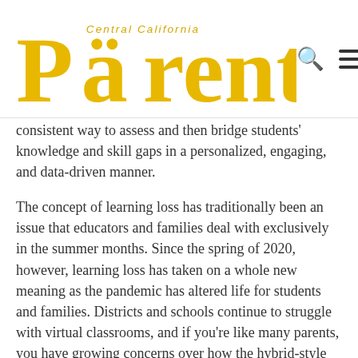Central California Parent
consistent way to assess and then bridge students' knowledge and skill gaps in a personalized, engaging, and data-driven manner.
The concept of learning loss has traditionally been an issue that educators and families deal with exclusively in the summer months. Since the spring of 2020, however, learning loss has taken on a whole new meaning as the pandemic has altered life for students and families. Districts and schools continue to struggle with virtual classrooms, and if you're like many parents, you have growing concerns over how the hybrid-style learning has affected and, in some places, continues to affect